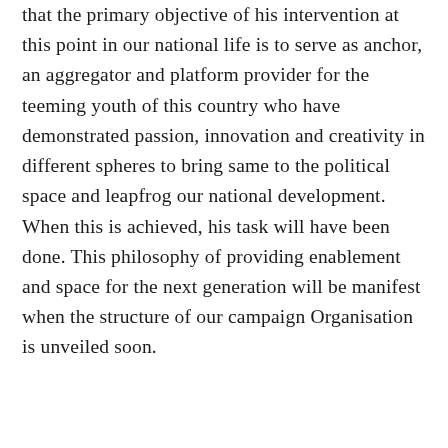that the primary objective of his intervention at this point in our national life is to serve as anchor, an aggregator and platform provider for the teeming youth of this country who have demonstrated passion, innovation and creativity in different spheres to bring same to the political space and leapfrog our national development. When this is achieved, his task will have been done. This philosophy of providing enablement and space for the next generation will be manifest when the structure of our campaign Organisation is unveiled soon.